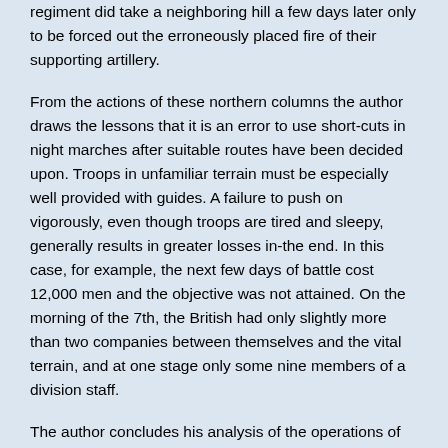regiment did take a neighboring hill a few days later only to be forced out the erroneously placed fire of their supporting artillery.
From the actions of these northern columns the author draws the lessons that it is an error to use short-cuts in night marches after suitable routes have been decided upon. Troops in unfamiliar terrain must be especially well provided with guides. A failure to push on vigorously, even though troops are tired and sleepy, generally results in greater losses in-the end. In this case, for example, the next few days of battle cost 12,000 men and the objective was not attained. On the morning of the 7th, the British had only slightly more than two companies between themselves and the vital terrain, and at one stage only some nine members of a division staff.
The author concludes his analysis of the operations of the British forces at Anzac and Suvla Bay beginning 6 August 1915, by discussing the landing and subsequent attacks - through 8 August - of the IX Army Corps. The landing at Suvla Bay was the third major attempt of the British to gain decisive results at Gallipoli. Having gained the heights beyond the Anafarta Plain (see sketch) the troops were to pivot on Sari Bahir and swing to the south, thus cutting off the southern end of the peninsula and opening the entrance to the straits.
Depending the district in August the expeditionary British Army and the...